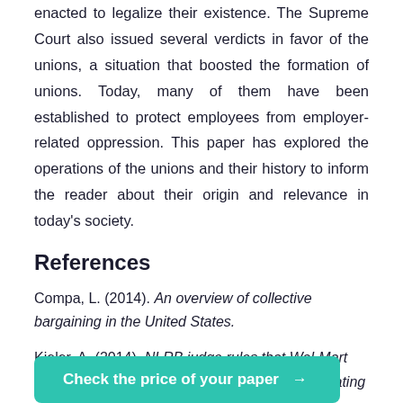enacted to legalize their existence. The Supreme Court also issued several verdicts in favor of the unions, a situation that boosted the formation of unions. Today, many of them have been established to protect employees from employer-related oppression. This paper has explored the operations of the unions and their history to inform the reader about their origin and relevance in today's society.
References
Compa, L. (2014). An overview of collective bargaining in the United States.
Kieler, A. (2014). NLRB judge rules that Wal-Mart illegally punished California workers for participating
Check the price of your paper →